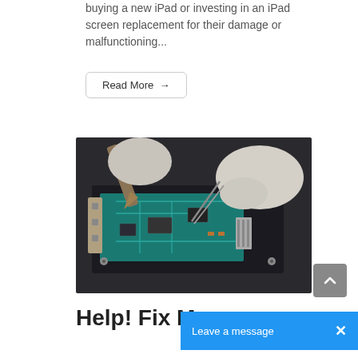buying a new iPad or investing in an iPad screen replacement for their damage or malfunctioning...
Read More →
[Figure (photo): Gloved hands using tweezers and soldering tool to repair a circuit board/mobile device motherboard on a workbench]
Help! Fix M...
Leave a message ×